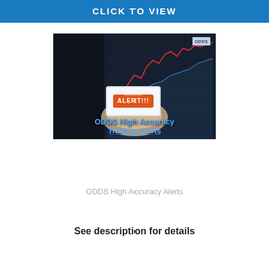CLICK TO VIEW
[Figure (photo): Thumbnail image showing hands holding a phone with an ALERT notification in front of stock chart screens, with text overlay 'ODDS High Accuracy Trading Alerts' and ODDS logo in corner]
ODDS High Accuracy Alerts
See description for details